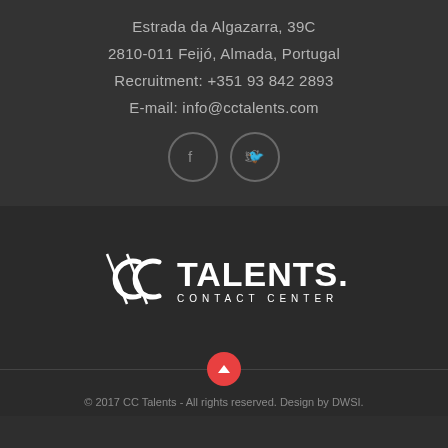Estrada da Algazarra, 39C
2810-011 Feijó, Almada, Portugal
Recruitment: +351 93 842 2893
E-mail: info@cctalents.com
[Figure (logo): CC Talents Contact Center logo in white on dark background]
© 2017 CC Talents - All rights reserved. Design by DWSI.